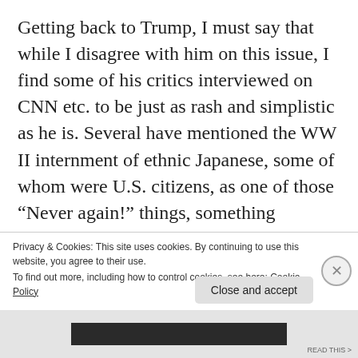Getting back to Trump, I must say that while I disagree with him on this issue, I find some of his critics interviewed on CNN etc. to be just as rash and simplistic as he is. Several have mentioned the WW II internment of ethnic Japanese, some of whom were U.S. citizens, as one of those “Never again!” things, something inherently racist.  While I don’t defend that action either (among other things, they confiscated the internees’ property and often didn’t return it after the war), calling it “racist”
Privacy & Cookies: This site uses cookies. By continuing to use this website, you agree to their use.
To find out more, including how to control cookies, see here: Cookie Policy
Close and accept